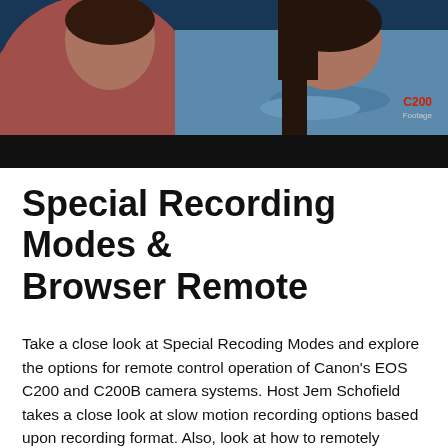[Figure (photo): Screenshot from a Canon C200 camera footage watermark video showing two people: one in a red/salmon top on the left and one in a blue ruffled top on the right with dark hair. Dark background with blue studio lighting. A red 'C200' watermark with 'Footage' text appears in the lower right of the image.]
Special Recording Modes & Browser Remote
Take a close look at Special Recoding Modes and explore the options for remote control operation of Canon's EOS C200 and C200B camera systems. Host Jem Schofield takes a close look at slow motion recording options based upon recording format. Also, look at how to remotely operate the cameras when they are out of reach by using the Browser Remote.